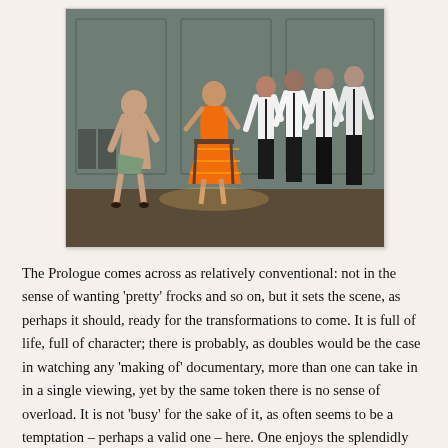[Figure (photo): A theatrical stage scene with a woman in a bright orange dress seated on a chair, surrounded by several men in white shirts and dark trousers. A shirtless older man leans toward her from the left. The setting appears to be a formal interior stage with panelled walls.]
The Prologue comes across as relatively conventional: not in the sense of wanting 'pretty' frocks and so on, but it sets the scene, as perhaps it should, ready for the transformations to come. It is full of life, full of character; there is probably, as doubles would be the case in watching any 'making of' documentary, more than one can take in in a single viewing, yet by the same token there is no sense of overload. It is not 'busy' for the sake of it, as often seems to be a temptation – perhaps a valid one – here. One enjoys the splendidly camp yet undeniably successful and talented Dancing Master of